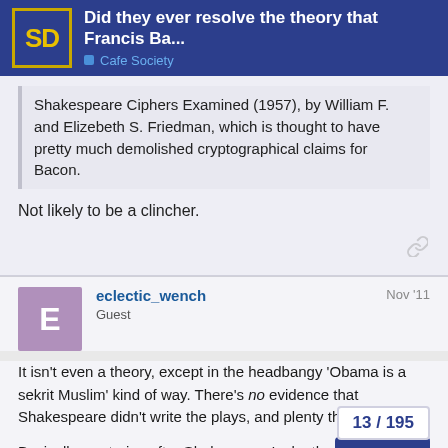Did they ever resolve the theory that Francis Ba... | Cafe Society
Shakespeare Ciphers Examined (1957), by William F. and Elizebeth S. Friedman, which is thought to have pretty much demolished cryptographical claims for Bacon.
Not likely to be a clincher.
eclectic_wench  Guest  Nov '11
It isn't even a theory, except in the headbangy 'Obama is a sekrit Muslim' kind of way. There's no evidence that Shakespeare didn't write the plays, and plenty that he did.
Basically, centuries after Shakespeare's death, r fit some people's image of what a great playwright should be like. The Romantics felt he should be a noble a some mere commoner. Hence, stupid cons